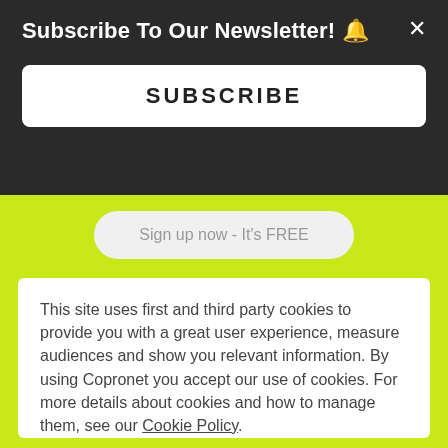Subscribe To Our Newsletter! 🔔
SUBSCRIBE
Sign up now - It's FREE
This site uses first and third party cookies to provide you with a great user experience, measure audiences and show you relevant information. By using Copronet you accept our use of cookies. For more details about cookies and how to manage them, see our Cookie Policy.
Accept